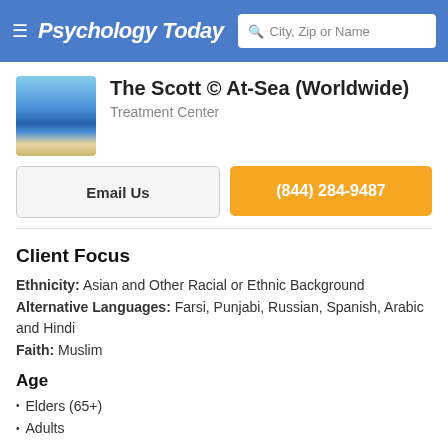Psychology Today — City, Zip or Name search bar
The Scott © At-Sea (Worldwide)
Treatment Center
Email Us
(844) 284-9487
Client Focus
Ethnicity: Asian and Other Racial or Ethnic Background
Alternative Languages: Farsi, Punjabi, Russian, Spanish, Arabic and Hindi
Faith: Muslim
Age
Elders (65+)
Adults